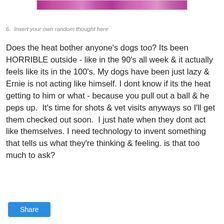[Figure (photo): A partial image of purple/pink flowers at the top of the page]
6.  Insert your own random thought here
Does the heat bother anyone's dogs too? Its been HORRIBLE outside - like in the 90's all week & it actually feels like its in the 100's. My dogs have been just lazy & Ernie is not acting like himself. I dont know if its the heat getting to him or what - because you pull out a ball & he peps up.  It's time for shots & vet visits anyways so I'll get them checked out soon.  I just hate when they dont act like themselves. I need technology to invent something that tells us what they're thinking & feeling. is that too much to ask?
Share